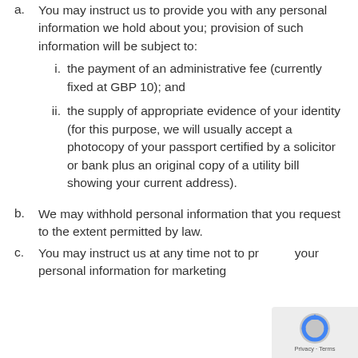a. You may instruct us to provide you with any personal information we hold about you; provision of such information will be subject to:
i. the payment of an administrative fee (currently fixed at GBP 10); and
ii. the supply of appropriate evidence of your identity (for this purpose, we will usually accept a photocopy of your passport certified by a solicitor or bank plus an original copy of a utility bill showing your current address).
b. We may withhold personal information that you request to the extent permitted by law.
c. You may instruct us at any time not to process your personal information for marketing